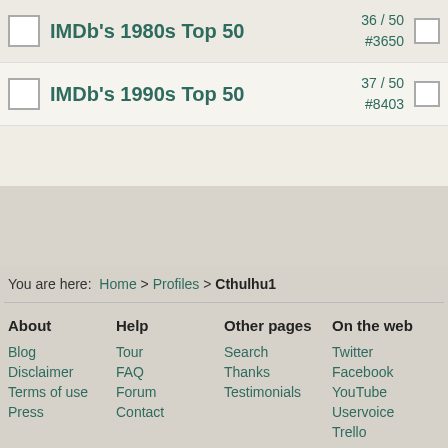|  | List Name | Stats |  |
| --- | --- | --- | --- |
| ☐ | IMDb's 1980s Top 50 | 36 / 50
#3650 |  |
| ☐ | IMDb's 1990s Top 50 | 37 / 50
#8403 |  |
You are here: Home > Profiles > Cthulhu1
About
Blog
Disclaimer
Terms of use
Press
Help
Tour
FAQ
Forum
Contact
Other pages
Search
Thanks
Testimonials
On the web
Twitter
Facebook
YouTube
Uservoice
Trello